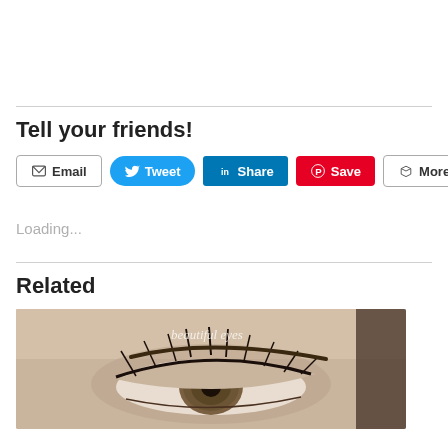Tell your friends!
[Figure (infographic): Social sharing buttons: Email, Tweet, Share (LinkedIn), Save (Pinterest), More]
Loading...
Related
[Figure (photo): Close-up photo of a human eye with long lashes, sepia tones, with white cursive text overlay]